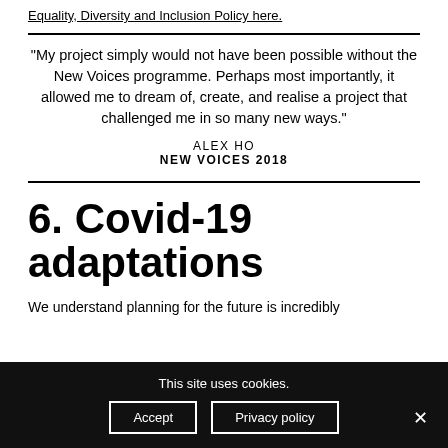Equality, Diversity and Inclusion Policy here.
"My project simply would not have been possible without the New Voices programme. Perhaps most importantly, it allowed me to dream of, create, and realise a project that challenged me in so many new ways."
ALEX HO
NEW VOICES 2018
6. Covid-19 adaptations
We understand planning for the future is incredibly
This site uses cookies.
Accept | Privacy policy